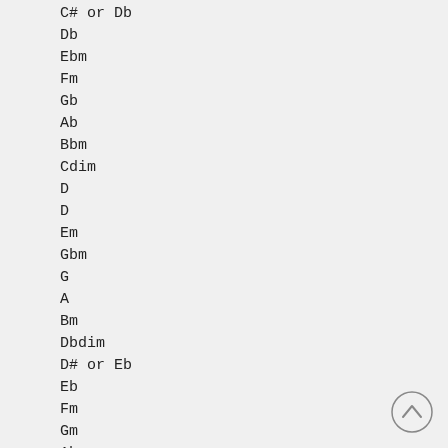C# or Db
Db
Ebm
Fm
Gb
Ab
Bbm
Cdim
D
D
Em
Gbm
G
A
Bm
Dbdim
D# or Eb
Eb
Fm
Gm
Ab
Bb
Cm
Ddim